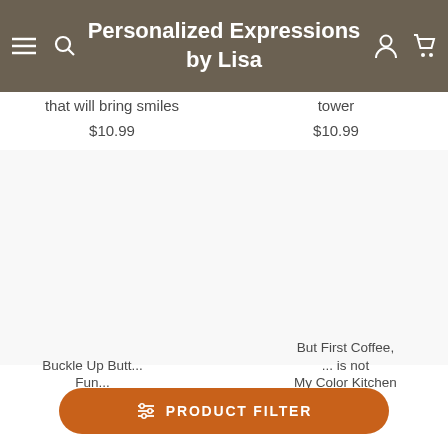Personalized Expressions by Lisa
that will bring smiles
$10.99
tower
$10.99
Buckle Up Butt... Fun...
$10.99
But First Coffee, ... is not My Color Kitchen
PRODUCT FILTER